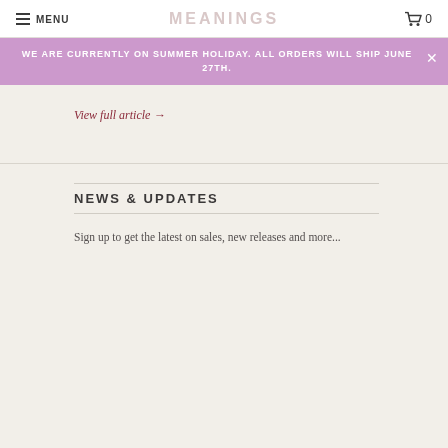MENU | MEANINGS | 0
WE ARE CURRENTLY ON SUMMER HOLIDAY. ALL ORDERS WILL SHIP JUNE 27TH.
View full article →
NEWS & UPDATES
Sign up to get the latest on sales, new releases and more...